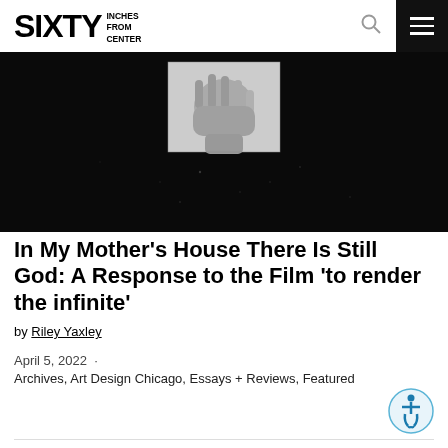SIXTY INCHES FROM CENTER
[Figure (photo): Black and white film still showing a hand reaching, with scattered light points on dark background]
In My Mother's House There Is Still God: A Response to the Film 'to render the infinite'
by Riley Yaxley
April 5, 2022 · Archives, Art Design Chicago, Essays + Reviews, Featured